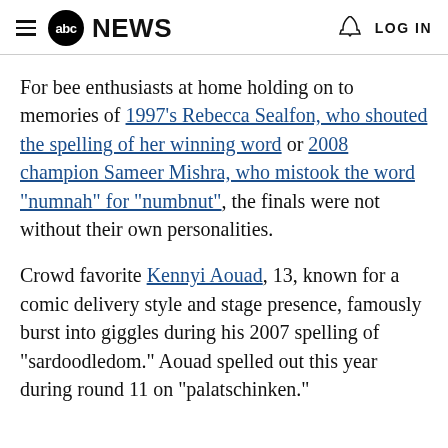abc NEWS | LOG IN
For bee enthusiasts at home holding on to memories of 1997's Rebecca Sealfon, who shouted the spelling of her winning word or 2008 champion Sameer Mishra, who mistook the word "numnah" for "numbnut", the finals were not without their own personalities.
Crowd favorite Kennyi Aouad, 13, known for a comic delivery style and stage presence, famously burst into giggles during his 2007 spelling of "sardoodledom." Aouad spelled out this year during round 11 on "palatschinken."